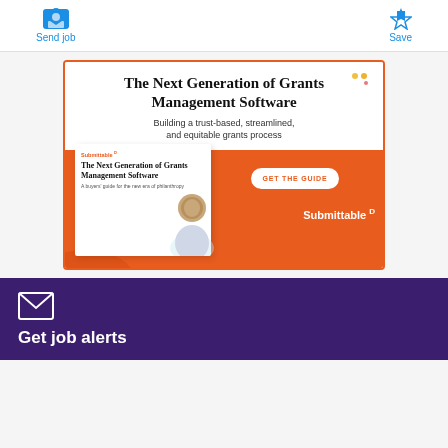Send job | Save
[Figure (infographic): Submittable advertisement banner for 'The Next Generation of Grants Management Software' with orange border, book image, woman photo, GET THE GUIDE button, and Submittable logo]
The Next Generation of Grants Management Software
Building a trust-based, streamlined, and equitable grants process
Get job alerts